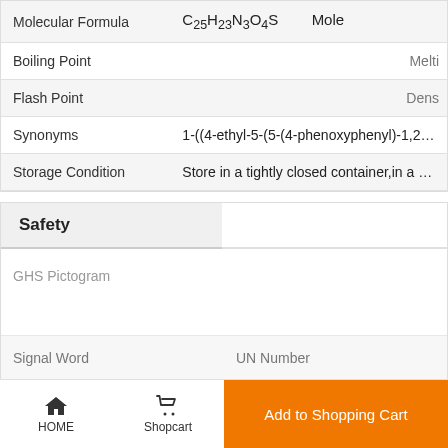| Property | Value |
| --- | --- |
| Molecular Formula | C25H23N3O4S |
| Boiling Point | Melt... |
| Flash Point | Dens... |
| Synonyms | 1-((4-ethyl-5-(5-(4-phenoxyphenyl)-1,2,4-oxa... |
| Storage Condition | Store in a tightly closed container,in a cool a... |
Safety
| GHS Pictogram |  |
| --- | --- |
| Signal Word | UN Number |
| Hazard Statements | Class |